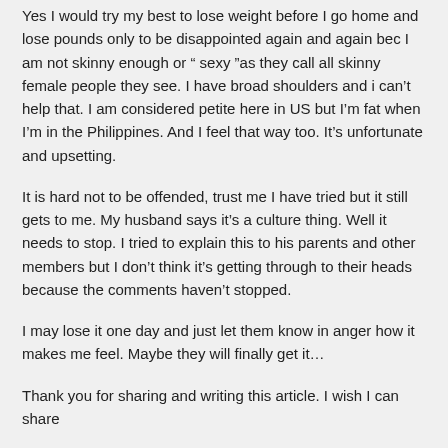Yes I would try my best to lose weight before I go home and lose pounds only to be disappointed again and again bec I am not skinny enough or “ sexy ”as they call all skinny female people they see. I have broad shoulders and i can’t help that. I am considered petite here in US but I’m fat when I’m in the Philippines. And I feel that way too. It’s unfortunate and upsetting.
It is hard not to be offended, trust me I have tried but it still gets to me. My husband says it’s a culture thing. Well it needs to stop. I tried to explain this to his parents and other members but I don’t think it’s getting through to their heads because the comments haven’t stopped.
I may lose it one day and just let them know in anger how it makes me feel. Maybe they will finally get it…
Thank you for sharing and writing this article. I wish I can share